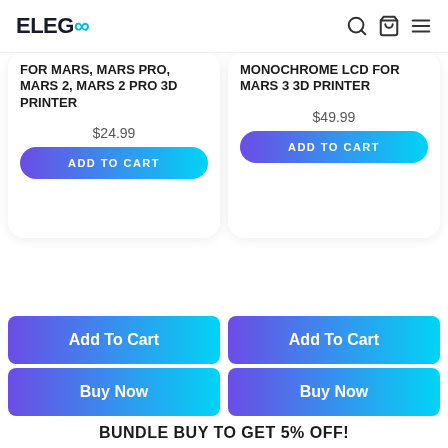ELEGOO
FOR MARS, MARS PRO, MARS 2, MARS 2 PRO 3D PRINTER
$24.99
ADD TO CART
MONOCHROME LCD FOR MARS 3 3D PRINTER
$49.99
ADD TO CART
Add To Cart
Add To Cart
Buy Now
Buy Now
BUNDLE BUY TO GET 5% OFF!